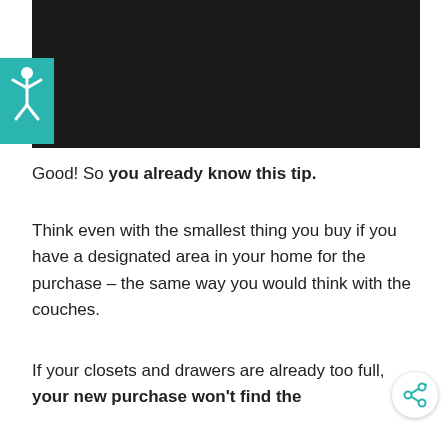[Figure (screenshot): Dark/black header image with accessibility icon (teal/cyan square with white human figure icon) in the upper left corner]
Good! So you already know this tip.
Think even with the smallest thing you buy if you have a designated area in your home for the purchase – the same way you would think with the couches.
If your closets and drawers are already too full, your new purchase won't find the